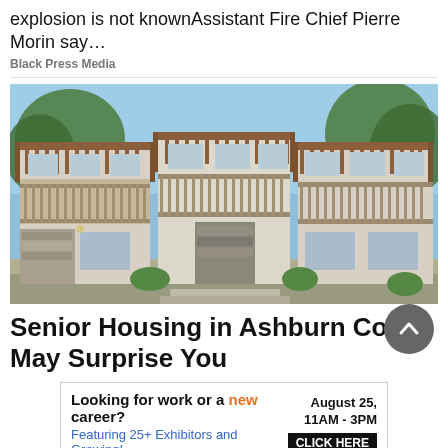explosion is not knownAssistant Fire Chief Pierre Morin say…
Black Press Media
[Figure (photo): Exterior rendering of modern two-storey townhouse buildings with wood pergolas, balconies, stone and stucco cladding, and trees in background under blue sky]
Senior Housing in Ashburn Costs May Surprise You
[Figure (other): Advertisement banner: 'Looking for work or a new career? August 25, 11AM - 3PM. Featuring 25+ Exhibitors and Growing! CLICK HERE']